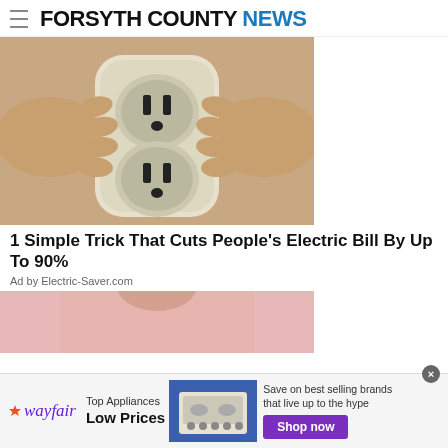FORSYTH COUNTY NEWS
[Figure (photo): Close-up of hands holding a white electrical outlet/plug, showing two receptacles]
1 Simple Trick That Cuts People's Electric Bill By Up To 90%
Ad by Electric-Saver.com
[Figure (photo): Partial view of person in pink clothing, likely a promotional ad image]
[Figure (infographic): Wayfair advertisement banner: Top Appliances Low Prices, image of stove/range, Save on best selling brands that live up to the hype, Shop now button]